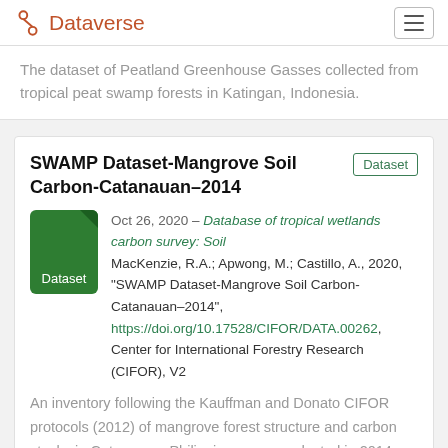Dataverse
The dataset of Peatland Greenhouse Gasses collected from tropical peat swamp forests in Katingan, Indonesia.
SWAMP Dataset-Mangrove Soil Carbon-Catanauan–2014
Oct 26, 2020 – Database of tropical wetlands carbon survey: Soil
MacKenzie, R.A.; Apwong, M.; Castillo, A., 2020, "SWAMP Dataset-Mangrove Soil Carbon-Catanauan–2014", https://doi.org/10.17528/CIFOR/DATA.00262, Center for International Forestry Research (CIFOR), V2
An inventory following the Kauffman and Donato CIFOR protocols (2012) of mangrove forest structure and carbon stocks in Catanauan, Philippines was conducted in 2014. These files provide the raw data for calculating forest structure, biomass, and carbon stocks.